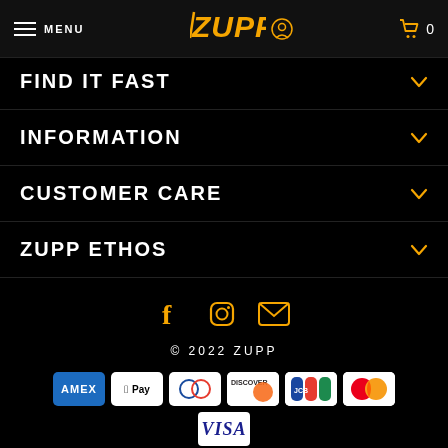MENU | ZUPP | 0
FIND IT FAST
INFORMATION
CUSTOMER CARE
ZUPP ETHOS
[Figure (infographic): Social media icons: Facebook, Instagram, Email in gold/yellow color]
© 2022 ZUPP
[Figure (infographic): Payment method icons: Amex, Apple Pay, Diners, Discover, JCB, Mastercard, Visa]